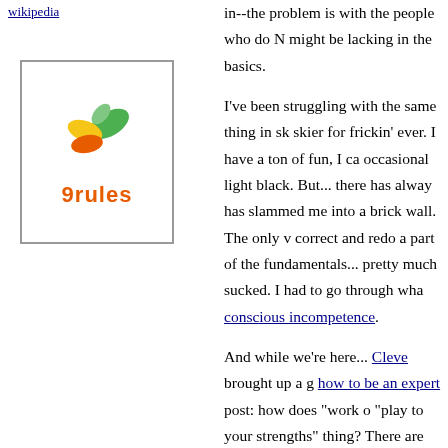in--the problem is with the people who do N might be lacking in the basics.
[Figure (logo): 9rules logo with green, yellow, and red leaf icon above orange text '9rules', inside a bordered box]
I've been struggling with the same thing in sk skier for frickin' ever. I have a ton of fun, I ca occasional light black. But... there has alway has slammed me into a brick wall. The only v correct and redo a part of the fundamentals... pretty much sucked. I had to go through wha conscious incompetence.
And while we're here... Cleve brought up a g how to be an expert post: how does "work o "play to your strengths" thing? There are som my take--I think the "work on the things you decided is something you WANT to get bette doesn't seem like you. In other words, I suck and have no interest in pursuing. But... I love willing to work on my weak spots so that I